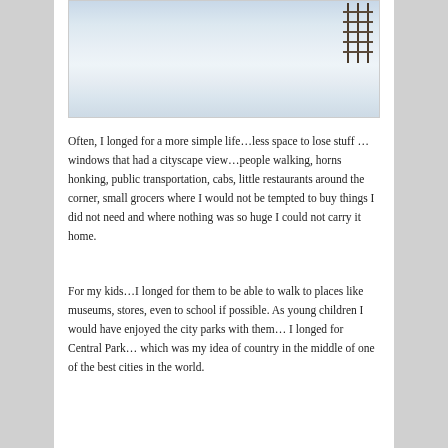[Figure (photo): A snowy winter outdoor scene, mostly white snow covering the ground, with a dark fence visible in the upper right corner and a faint path or tracks in the snow.]
Often, I longed for a more simple life…less space to lose stuff … windows that had a cityscape view…people walking, horns honking, public transportation, cabs, little restaurants around the corner, small grocers where I would not be tempted to buy things I did not need and where nothing was so huge I could not carry it home.
For my kids…I longed for them to be able to walk to places like museums, stores, even to school if possible. As young children I would have enjoyed the city parks with them… I longed for Central Park… which was my idea of country in the middle of one of the best cities in the world.